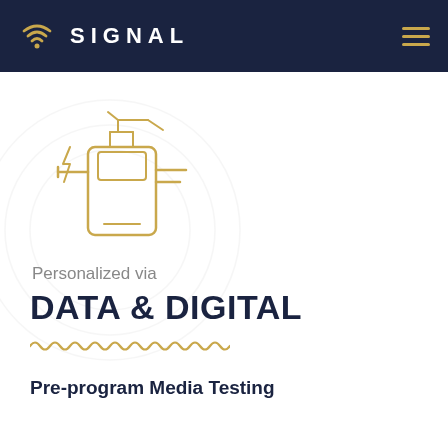SIGNAL
[Figure (illustration): Gold line-art icon showing a circuit board or plug connector with lightning bolt elements, representing data and digital technology]
Personalized via
DATA & DIGITAL
[Figure (illustration): Gold wavy/zigzag decorative line]
Pre-program Media Testing